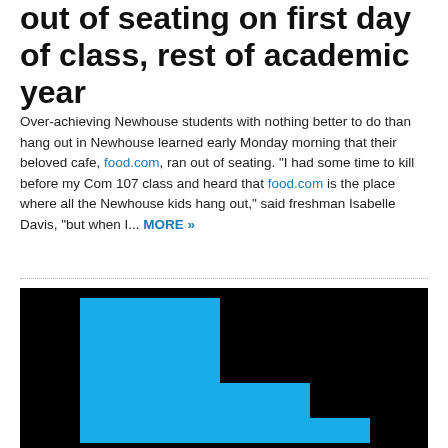out of seating on first day of class, rest of academic year
Over-achieving Newhouse students with nothing better to do than hang out in Newhouse learned early Monday morning that their beloved cafe, food.com, ran out of seating. "I had some time to kill before my Com 107 class and heard that food.com is the place where all the Newhouse kids hang out," said freshman Isabelle Davis, "but when I... MORE »
[Figure (photo): Blue staircase-shaped geometric logo or graphic on black background]